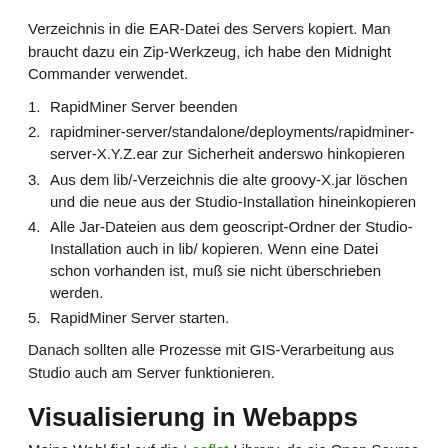Verzeichnis in die EAR-Datei des Servers kopiert. Man braucht dazu ein Zip-Werkzeug, ich habe den Midnight Commander verwendet.
RapidMiner Server beenden
rapidminer-server/standalone/deployments/rapidminer-server-X.Y.Z.ear zur Sicherheit anderswo hinkopieren
Aus dem lib/-Verzeichnis die alte groovy-X.jar löschen und die neue aus der Studio-Installation hineinkopieren
Alle Jar-Dateien aus dem geoscript-Ordner der Studio-Installation auch in lib/ kopieren. Wenn eine Datei schon vorhanden ist, muß sie nicht überschrieben werden.
RapidMiner Server starten.
Danach sollten alle Prozesse mit GIS-Verarbeitung aus Studio auch am Server funktionieren.
Visualisierung in Webapps
Meine Wahl fiel auf die Leaflet-Library, da sie Open Source und gut dokumentiert ist. Da wir in RapidMiner keinen eigenen GIS-